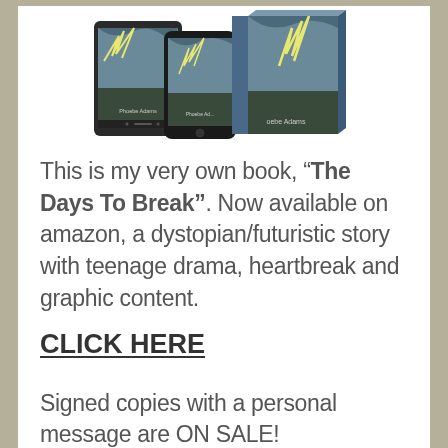[Figure (illustration): Book mockup showing 'The Days To Break' by Phoebe Adams in multiple formats: e-reader, phone, and physical book with stormy sky cover]
This is my very own book, "The Days To Break". Now available on amazon, a dystopian/futuristic story with teenage drama, heartbreak and graphic content.
CLICK HERE
Signed copies with a personal message are ON SALE!
Contact me via email for